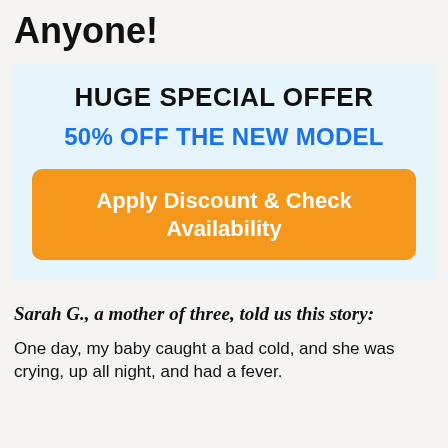Anyone!
[Figure (infographic): Promotional offer box with light blue background containing 'HUGE SPECIAL OFFER' heading, '50% OFF THE NEW MODEL' subheading in blue, and an orange CTA button reading 'Apply Discount & Check Availability']
Sarah G., a mother of three, told us this story:
One day, my baby caught a bad cold, and she was crying, up all night, and had a fever.